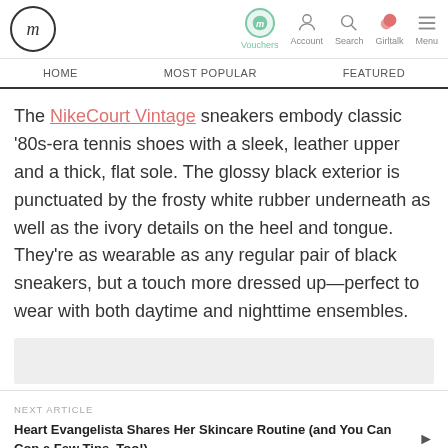fm | Vouchers | Account | Search | Girltalk | Menu
HOME | MOST POPULAR | FEATURED
The NikeCourt Vintage sneakers embody classic '80s-era tennis shoes with a sleek, leather upper and a thick, flat sole. The glossy black exterior is punctuated by the frosty white rubber underneath as well as the ivory details on the heel and tongue. They're as wearable as any regular pair of black sneakers, but a touch more dressed up—perfect to wear with both daytime and nighttime ensembles.
[Figure (other): Grey placeholder image area]
NEXT ARTICLE
Heart Evangelista Shares Her Skincare Routine (and You Can Cop a Few Tips, Too!)